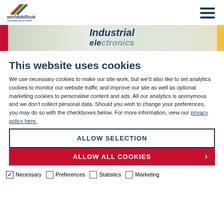WorldSkills UK - excellence at work
[Figure (photo): Banner image with text 'Industrial' visible, red stripe on left, yellow on right, person in yellow safety gear]
This website uses cookies
We use necessary cookies to make our site work, but we'd also like to set analytics cookies to monitor our website traffic and improve our site as well as optional marketing cookies to personalise content and ads. All our analytics is anonymous and we don't collect personal data. Should you wish to change your preferences, you may do so with the checkboxes below. For more information, view our privacy policy here.
ALLOW SELECTION
ALLOW ALL COOKIES
Necessary   Preferences   Statistics   Marketing